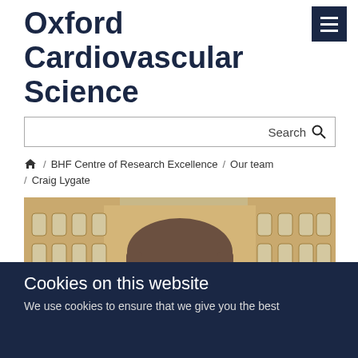Oxford Cardiovascular Science
Search
Home / BHF Centre of Research Excellence / Our team / Craig Lygate
[Figure (photo): Photograph of Craig Lygate outdoors in front of a historic stone building, showing the upper portion of a man's face with brown hair. The building has arched windows and ornate stonework.]
Cookies on this website
We use cookies to ensure that we give you the best